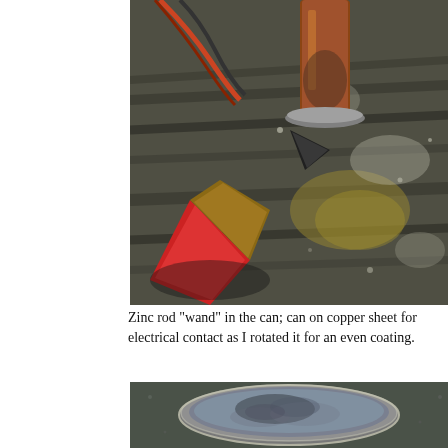[Figure (photo): Close-up photo of a zinc rod wand inside a can, placed on a copper sheet. The can appears corroded/oxidized with dark and yellowish patches. A red-handled tool or clamp is visible in the foreground. A copper pipe and wires are visible at the top.]
Zinc rod "wand" in the can; can on copper sheet for electrical contact as I rotated it for an even coating.
[Figure (photo): Close-up photo showing the bottom of a can with a zinc/silver coating visible, placed on a dark speckled surface.]